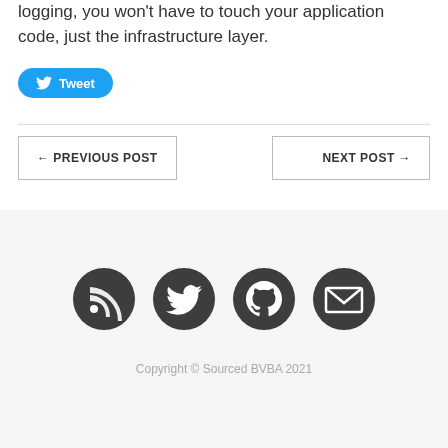logging, you won't have to touch your application code, just the infrastructure layer.
[Figure (other): Twitter Tweet button (blue rounded button with bird icon and 'Tweet' label)]
[Figure (other): Navigation links: '← PREVIOUS POST' button on left, 'NEXT POST →' button on right]
[Figure (other): Four social media icon circles (RSS, Twitter, GitHub, Email) in dark gray]
Copyright © Sourced BVBA 2021